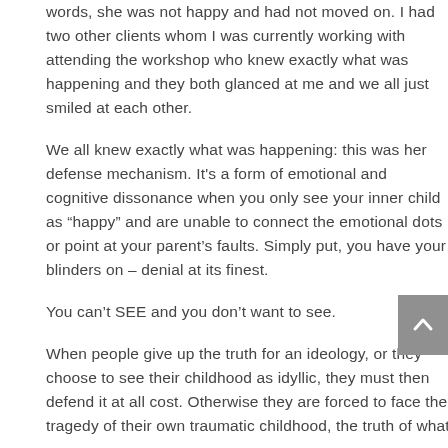words, she was not happy and had not moved on. I had two other clients whom I was currently working with attending the workshop who knew exactly what was happening and they both glanced at me and we all just smiled at each other.
We all knew exactly what was happening: this was her defense mechanism. It's a form of emotional and cognitive dissonance when you only see your inner child as “happy” and are unable to connect the emotional dots or point at your parent’s faults. Simply put, you have your blinders on – denial at its finest.
You can’t SEE and you don’t want to see.
When people give up the truth for an ideology, or they choose to see their childhood as idyllic, they must then defend it at all cost. Otherwise they are forced to face the tragedy of their own traumatic childhood, the truth of what